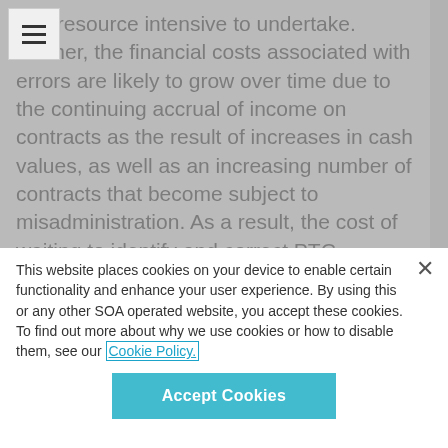and resource intensive to undertake. Further, the financial costs associated with errors are likely to grow over time due to the continuing accrual of income on contracts as the result of increases in cash values, as well as an increasing number of contracts that become subject to misadministration. As a result, the cost of waiting to identify and correct PTC administration errors can significantly exceed the current costs of doing so.
This website places cookies on your device to enable certain functionality and enhance your user experience. By using this or any other SOA operated website, you accept these cookies. To find out more about why we use cookies or how to disable them, see our Cookie Policy.